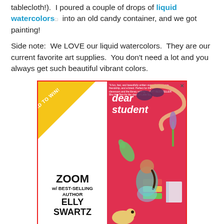tablecloth!). I poured a couple of drops of liquid watercolors into an old candy container, and we got painting!
Side note: We LOVE our liquid watercolors. They are our current favorite art supplies. You don't need a lot and you always get such beautiful vibrant colors.
[Figure (other): Advertisement for a 'BID TO WIN' Zoom event with best-selling author Elly Swartz, featuring the book 'Dear Student'. Red background with illustrated animals and a girl. Footer text: Meet her with your school, school district, or writer's group! Proceeds benefit TABC Book Drop (Writer's Cubed, a 501c3).]
Yes, your hands will get dyed in the process, but everything washes off. My son wasn't always into painting with me